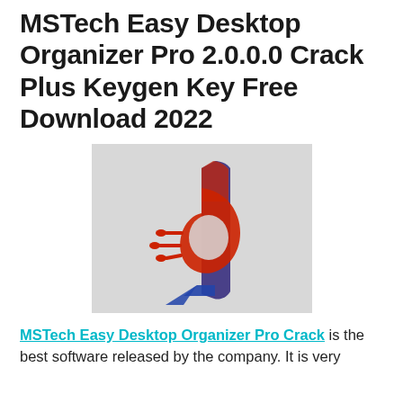MSTech Easy Desktop Organizer Pro 2.0.0.0 Crack Plus Keygen Key Free Download 2022
[Figure (logo): MSTech Easy Desktop Organizer Pro logo — stylized letter 'd' shape in red and dark blue/purple gradient with speed lines, on a light grey background]
MSTech Easy Desktop Organizer Pro Crack is the best software released by the company. It is very